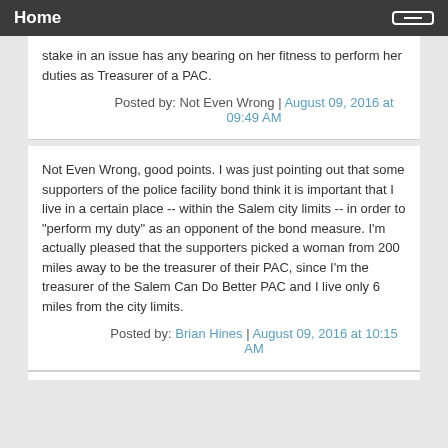Home
stake in an issue has any bearing on her fitness to perform her duties as Treasurer of a PAC.
Posted by: Not Even Wrong | August 09, 2016 at 09:49 AM
Not Even Wrong, good points. I was just pointing out that some supporters of the police facility bond think it is important that I live in a certain place -- within the Salem city limits -- in order to "perform my duty" as an opponent of the bond measure. I'm actually pleased that the supporters picked a woman from 200 miles away to be the treasurer of their PAC, since I'm the treasurer of the Salem Can Do Better PAC and I live only 6 miles from the city limits.
Posted by: Brian Hines | August 09, 2016 at 10:15 AM